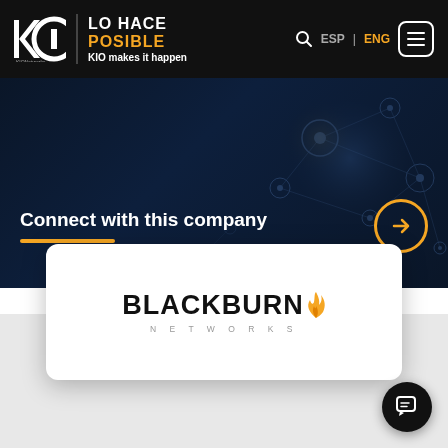KIO Networks | LO HACE POSIBLE | KIO makes it happen | ESP | ENG
Connect with this company
[Figure (logo): Blackburn Networks logo — bold black BLACKBURN text with orange flame icon, NETWORKS in spaced gray lettering below]
[Figure (other): Chat/support button in bottom right corner]